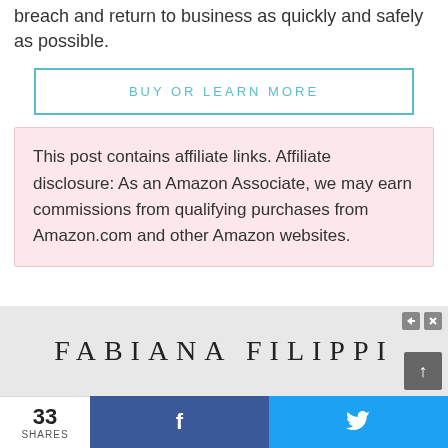breach and return to business as quickly and safely as possible.
BUY OR LEARN MORE
This post contains affiliate links. Affiliate disclosure: As an Amazon Associate, we may earn commissions from qualifying purchases from Amazon.com and other Amazon websites.
[Figure (other): Advertisement banner for Fabiana Filippi brand]
33 SHARES  f  (Twitter bird icon)